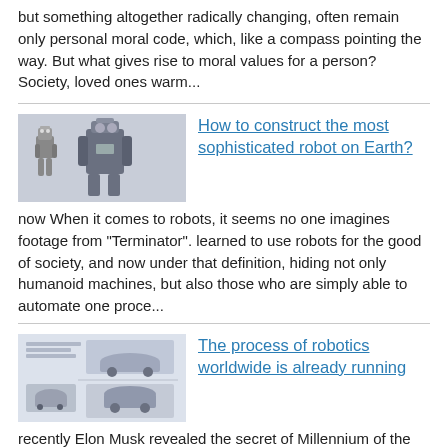but something altogether radically changing, often remain only personal moral code, which, like a compass pointing the way. But what gives rise to moral values for a person? Society, loved ones warm...
[Figure (photo): Thumbnail image of robots, humanoid mechanical figures]
How to construct the most sophisticated robot on Earth?
now When it comes to robots, it seems no one imagines footage from "Terminator". learned to use robots for the good of society, and now under that definition, hiding not only humanoid machines, but also those who are simply able to automate one proce...
[Figure (screenshot): Thumbnail image showing cars, resembling a webpage or article screenshot]
The process of robotics worldwide is already running
recently Elon Musk revealed the secret of Millennium of the camera above the rear view mirror of the car Tesla Model 3. Although the main purpose of any camera is to shoot what is happening around, found out some details. So, the camera will follow t...
Comments (0)
This article has no comment, be the first!